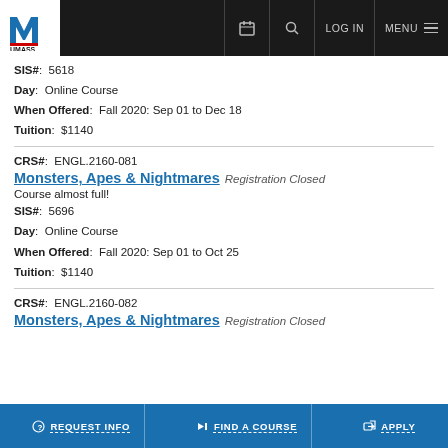UMass Lowell navigation bar with logo, calendar, search, LOG IN, MENU
SIS#: 5618
Day: Online Course
When Offered: Fall 2020: Sep 01 to Dec 18
Tuition: $1140
CRS#: ENGL.2160-081
Monsters, Apes & Nightmares Registration Closed
Course almost full!
SIS#: 5696
Day: Online Course
When Offered: Fall 2020: Sep 01 to Oct 25
Tuition: $1140
CRS#: ENGL.2160-082
Monsters, Apes & Nightmares Registration Closed
REQUEST INFO | FIND A COURSE | APPLY